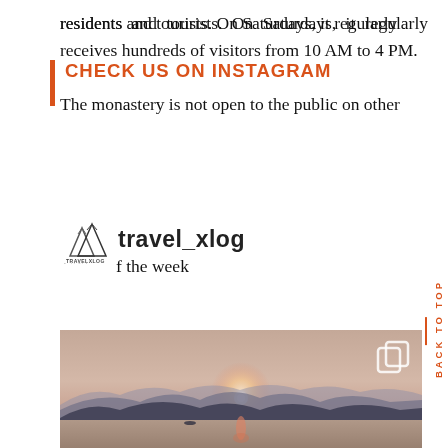residents and tourists. On Saturdays, it regularly receives hundreds of visitors from 10 AM to 4 PM. The monastery is not open to the public on other
CHECK US ON INSTAGRAM
[Figure (logo): TravelXlog mountain logo with text 'TRAVELXLOG' and tagline below]
travel_xlog
f the week
[Figure (photo): Sunset over a lake or river with silhouetted mountain ranges in the background. The sun is low on the horizon casting a warm reddish glow reflected on the water. A small boat is visible in the distance.]
BACK TO TOP